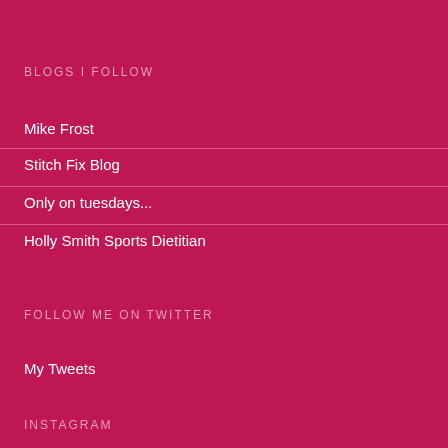BLOGS I FOLLOW
Mike Frost
Stitch Fix Blog
Only on tuesdays...
Holly Smith Sports Dietitian
FOLLOW ME ON TWITTER
My Tweets
INSTAGRAM